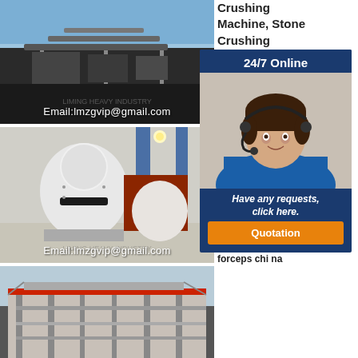[Figure (photo): Outdoor stone crushing machine plant with conveyor belts on a hillside, with email overlay text 'Email:lmzgvip@gmail.com']
[Figure (photo): Indoor industrial crusher/grinding machine (white conical machine) in a factory, with email overlay 'Email:lmzgvip@gmail.com']
[Figure (photo): Exterior view of an industrial building/factory with metal framework]
Crushing Machine, Stone Crushing M...
Ch... ma... in... of...
St...
Fo... fe... ni... 20... Ch...
Forceps In China
Crusher grinding mining machine
stone crushing forceps chi na
[Figure (infographic): 24/7 Online popup with customer service agent photo, 'Have any requests, click here.' message and orange Quotation button]